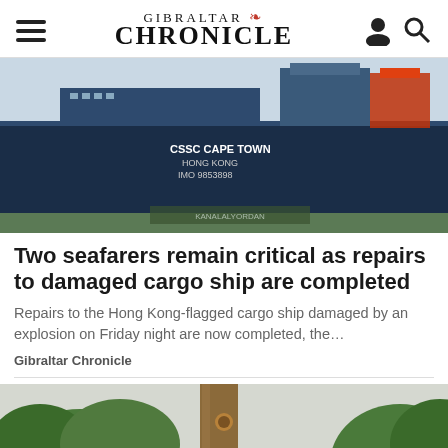GIBRALTAR CHRONICLE
[Figure (photo): A large dark-hulled cargo ship labeled 'CSSC CAPE TOWN HONG KONG IMO 9853898' moored at a dock, photographed from waterside showing the hull and superstructure.]
Two seafarers remain critical as repairs to damaged cargo ship are completed
Repairs to the Hong Kong-flagged cargo ship damaged by an explosion on Friday night are now completed, the…
Gibraltar Chronicle
[Figure (photo): A tree trunk with cut branches, wires running in foreground, surrounded by green leafy trees under a grey sky.]